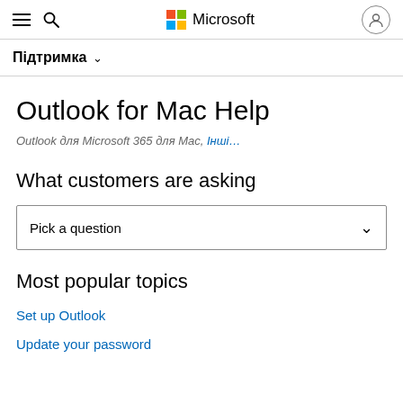Microsoft navigation header with hamburger menu, search icon, Microsoft logo, and user icon
Підтримка
Outlook for Mac Help
Outlook для Microsoft 365 для Mac, Інші…
What customers are asking
Pick a question
Most popular topics
Set up Outlook
Update your password